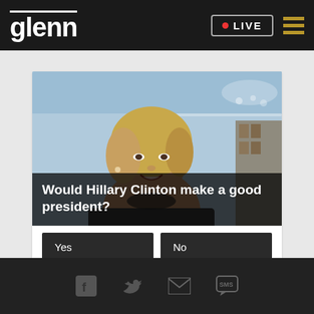glenn | LIVE
[Figure (screenshot): Screenshot of a sponsored poll card on Glenn.com showing Hillary Clinton's photo with the question 'Would Hillary Clinton make a good president?' and voting options Yes, No, Not sure, with 32,435 votes]
Social media icons: Facebook, Twitter, Email, SMS